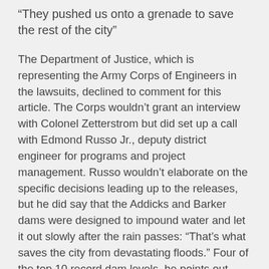“They pushed us onto a grenade to save the rest of the city”
The Department of Justice, which is representing the Army Corps of Engineers in the lawsuits, declined to comment for this article. The Corps wouldn’t grant an interview with Colonel Zetterstrom but did set up a call with Edmond Russo Jr., deputy district engineer for programs and project management. Russo wouldn’t elaborate on the specific decisions leading up to the releases, but he did say that the Addicks and Barker dams were designed to impound water and let it out slowly after the rain passes: “That’s what saves the city from devastating floods.” Four of the top 10 record dam levels, he points out, occurred in the past decade. “In less than a week we got more than a year’s worth of rain,” he says. “That’s epic. I don’t think anyone could have imagined that could